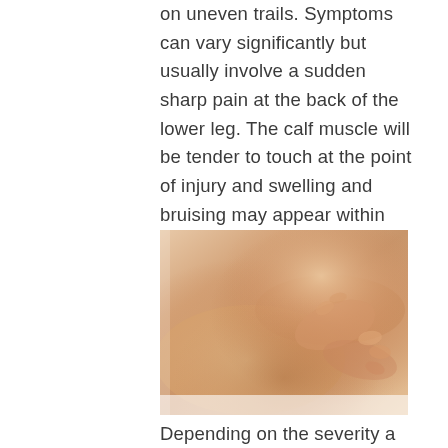on uneven trails. Symptoms can vary significantly but usually involve a sudden sharp pain at the back of the lower leg. The calf muscle will be tender to touch at the point of injury and swelling and bruising may appear within hours or days.
[Figure (photo): Hands massaging or examining a person's calf/lower leg area, showing therapeutic touch on the back of the lower leg.]
Depending on the severity a calf